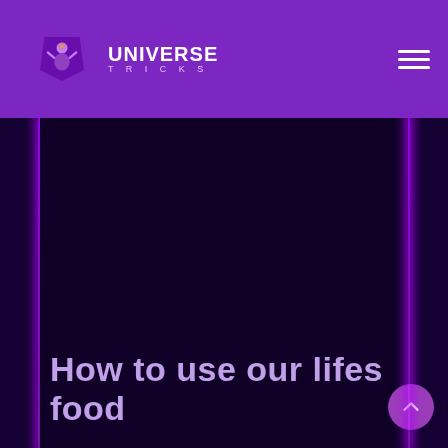UNIVERSE TRICKS
[Figure (illustration): Dark purple background content area with glowing purple vertical border lines on left and right sides]
How to use our lifes food